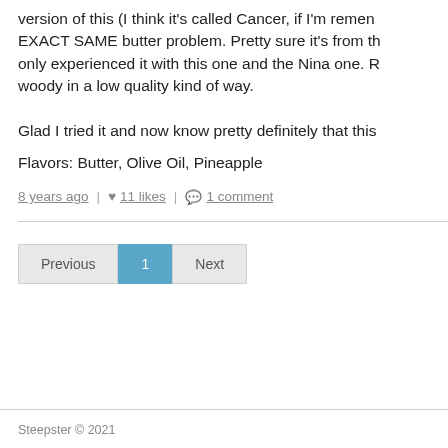version of this (I think it's called Cancer, if I'm remen EXACT SAME butter problem. Pretty sure it's from t only experienced it with this one and the Nina one. R woody in a low quality kind of way.
Glad I tried it and now know pretty definitely that this
Flavors: Butter, Olive Oil, Pineapple
8 years ago | ♥ 11 likes | 💬 1 comment
Previous 1 Next
Steepster © 2021